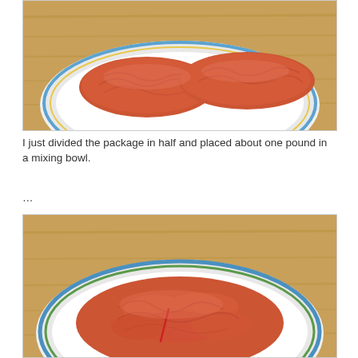[Figure (photo): Photo of raw ground beef formed into two loaf shapes, placed on a white round plate with blue and yellow decorative edge, on a wooden surface]
I just divided the package in half and placed about one pound in a mixing bowl.
…
[Figure (photo): Photo of raw ground beef spread out loosely on a white round plate with blue and green decorative edge, on a wooden surface]